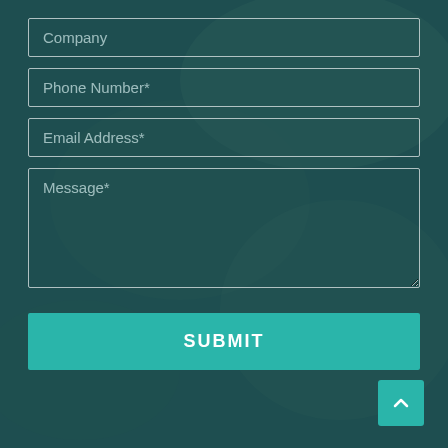[Figure (screenshot): Contact form on a dark teal background with a blurred photo of hands writing. Contains input fields for Company, Phone Number*, Email Address*, a Message* textarea, a teal SUBMIT button, and a teal back-to-top chevron button.]
Company
Phone Number*
Email Address*
Message*
SUBMIT